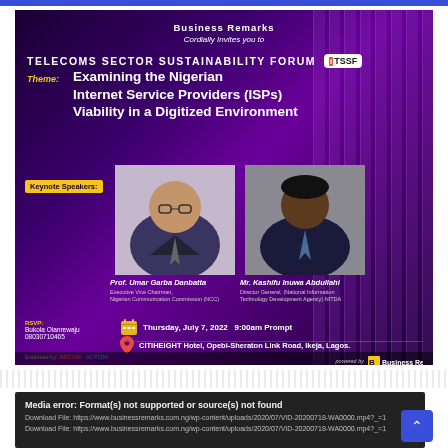[Figure (infographic): Business Remarks event flyer for Telecoms Sector Sustainability Forum (TSSF). Theme: Examining the Nigerian Internet Service Providers (ISPs) Viability in a Digitized Environment. Keynote speakers: Prof. Umar Garba Danbatta (Executive Vice Chairman, Nigerian Communication Commission NCC) and Mr. Kashifu Inuwa Abdullahi (Director General, National Information Technology Development Agency NITDA). Date: Thursday, July 7, 2022, 9:00am Prompt. Location: CITIHEIGHT Hotel, Opebi-Sheraton Link Road, Ikeja, Lagos. RSVP: Bukola Olanrewaju 08030710465. Endorsed by ARCON and ACTIZM. Powered by Business Remarks.]
Media error: Format(s) not supported or source(s) not found
Download File: https://www.businessremarks.com.ng/wp-content/uploads/2020/07/VID-20200718-WA0000.mp4?_=1
Download File: https://www.businessremarks.com.ng/wp-content/uploads/2020/07/VID-20200718-WA0000.mp4?_=1